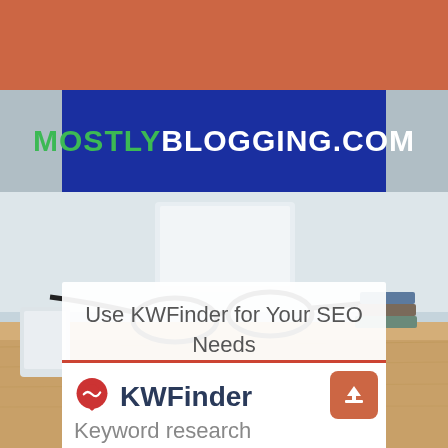[Figure (screenshot): Orange strip at top of page, part of website header]
[Figure (logo): MostlyBlogging.com logo: blue background with MOSTLY in green and BLOGGING.COM in white bold text]
[Figure (photo): Desk scene background with glasses on wooden surface, light blue background]
Use KWFinder for Your SEO Needs
[Figure (screenshot): KWFinder app screenshot showing the KWFinder logo (red pin/teardrop icon) and brand name KWFinder in dark blue bold text, with an orange upload/share button in the top right corner, and the beginning of the text 'Keyword research' below]